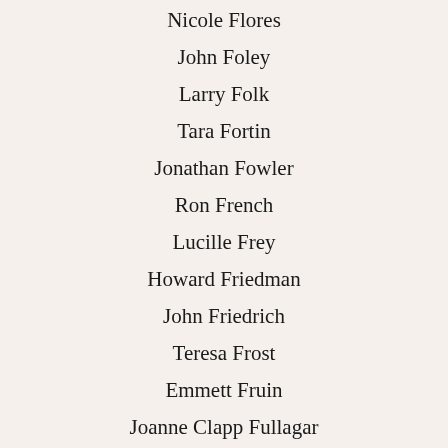Nicole Flores
John Foley
Larry Folk
Tara Fortin
Jonathan Fowler
Ron French
Lucille Frey
Howard Friedman
John Friedrich
Teresa Frost
Emmett Fruin
Joanne Clapp Fullagar